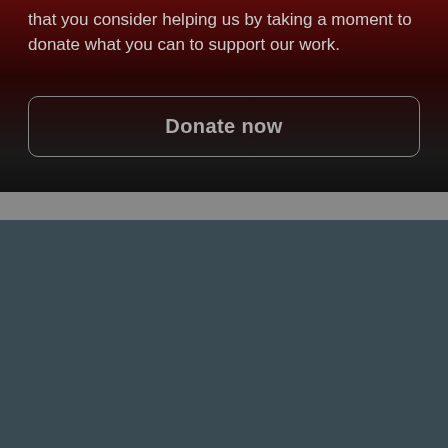that you consider helping us by taking a moment to donate what you can to support our work.
Donate now
Your choice regarding cookies on this site
We use cookies to optimise site functionality and give you the best possible experience.
Accept recommended settings
Settings